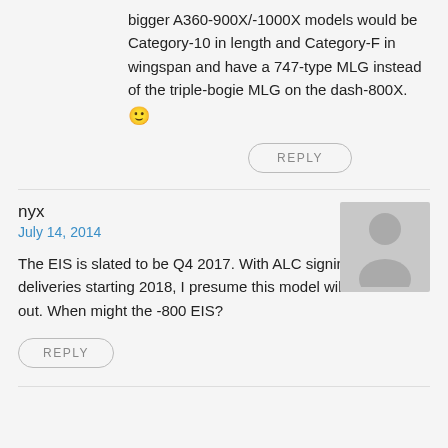bigger A360-900X/-1000X models would be Category-10 in length and Category-F in wingspan and have a 747-type MLG instead of the triple-bogie MLG on the dash-800X. 🙂
REPLY
nyx
July 14, 2014
The EIS is slated to be Q4 2017. With ALC signing up for -900 deliveries starting 2018, I presume this model will be the first out. When might the -800 EIS?
REPLY